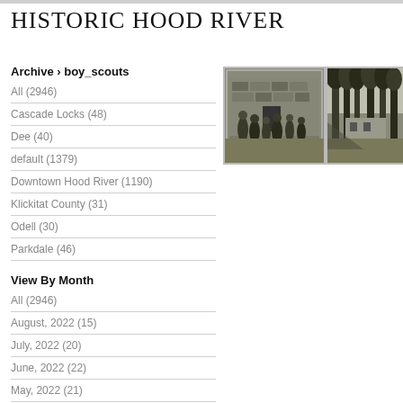HISTORIC HOOD RIVER
Archive › boy_scouts
All (2946)
Cascade Locks (48)
Dee (40)
default (1379)
Downtown Hood River (1190)
Klickitat County (31)
Odell (30)
Parkdale (46)
[Figure (photo): Black and white historical photo of a group of boy scouts standing in front of a stone building]
[Figure (photo): Black and white historical photo of tall trees and a building in the background]
View By Month
All (2946)
August, 2022 (15)
July, 2022 (20)
June, 2022 (22)
May, 2022 (21)
April, 2022 (21)